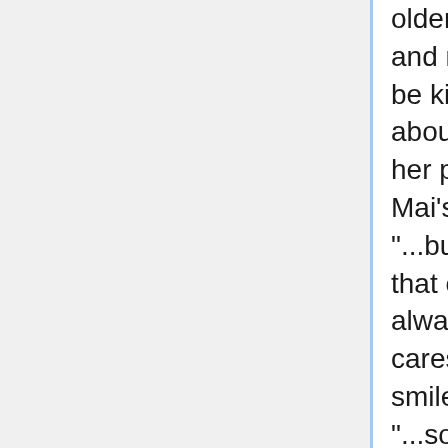older brother is in the university, and my Father is JSDF.. they'd be kind of super overprotective about that sort of thing." Putting her phone away once she has Mai's in the address book, "...but you know, as annoying as that can be sometimes, it's always good to know someone cares." She manages a wide smile as she looks Mai's way, "...so no matter what he does or hides from you, I bet he still appreciates you."
"Small get-togethers with friends are usually the best anyhow." Eri waves it off, grinning, "I mean you saw that auction. I don't know how people at Ohtori stand those attending those affairs. I'd far prefer eating dinner with you and any friends of yours than some hoity-toity party. Just.. I'll let you know in advance, I'm a vegetarian. It's not a big